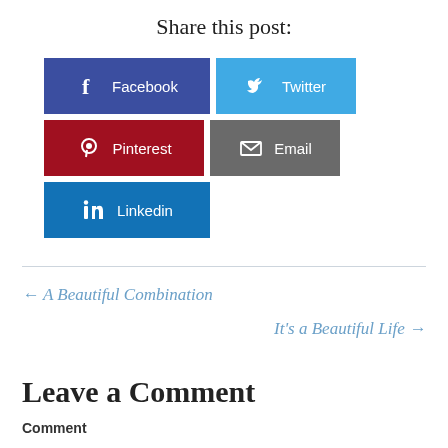Share this post:
[Figure (infographic): Social share buttons: Facebook (dark blue), Twitter (light blue), Pinterest (dark red), Email (grey), Linkedin (blue)]
← A Beautiful Combination
It's a Beautiful Life →
Leave a Comment
Comment